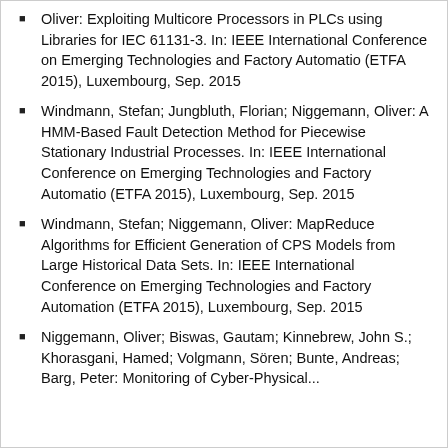Oliver: Exploiting Multicore Processors in PLCs using Libraries for IEC 61131-3. In: IEEE International Conference on Emerging Technologies and Factory Automatio (ETFA 2015), Luxembourg, Sep. 2015
Windmann, Stefan; Jungbluth, Florian; Niggemann, Oliver: A HMM-Based Fault Detection Method for Piecewise Stationary Industrial Processes. In: IEEE International Conference on Emerging Technologies and Factory Automatio (ETFA 2015), Luxembourg, Sep. 2015
Windmann, Stefan; Niggemann, Oliver: MapReduce Algorithms for Efficient Generation of CPS Models from Large Historical Data Sets. In: IEEE International Conference on Emerging Technologies and Factory Automation (ETFA 2015), Luxembourg, Sep. 2015
Niggemann, Oliver; Biswas, Gautam; Kinnebrew, John S.; Khorasgani, Hamed; Volgmann, Sören; Bunte, Andreas; Barg, Peter: Monitoring of Cyber-Physical...